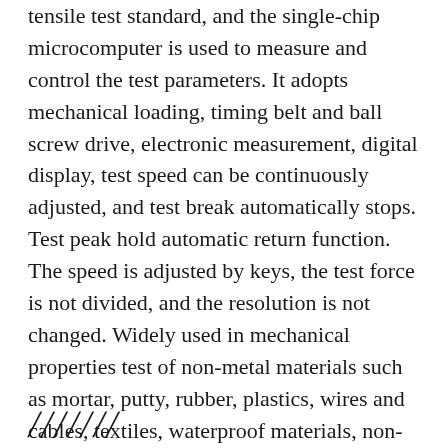tensile test standard, and the single-chip microcomputer is used to measure and control the test parameters. It adopts mechanical loading, timing belt and ball screw drive, electronic measurement, digital display, test speed can be continuously adjusted, and test break automatically stops. Test peak hold automatic return function. The speed is adjusted by keys, the test force is not divided, and the resolution is not changed. Widely used in mechanical properties test of non-metal materials such as mortar, putty, rubber, plastics, wires and cables, textiles, waterproof materials, non-woven fabrics, wires, metal foils, metal plates and metal rods, and other parts Mechanical property test
▯▯▯▯▯▯▯